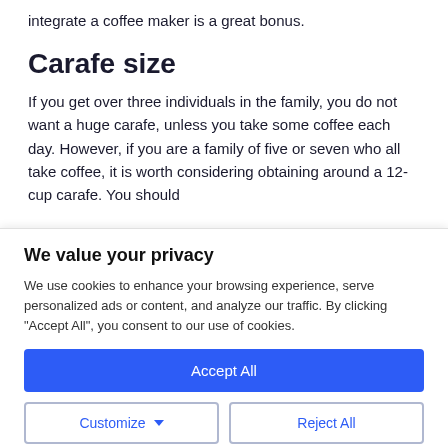integrate a coffee maker is a great bonus.
Carafe size
If you get over three individuals in the family, you do not want a huge carafe, unless you take some coffee each day. However, if you are a family of five or seven who all take coffee, it is worth considering obtaining around a 12-cup carafe. You should
We value your privacy
We use cookies to enhance your browsing experience, serve personalized ads or content, and analyze our traffic. By clicking "Accept All", you consent to our use of cookies.
Accept All
Customize
Reject All